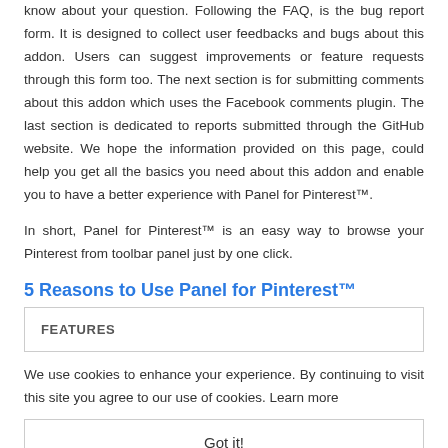know about your question. Following the FAQ, is the bug report form. It is designed to collect user feedbacks and bugs about this addon. Users can suggest improvements or feature requests through this form too. The next section is for submitting comments about this addon which uses the Facebook comments plugin. The last section is dedicated to reports submitted through the GitHub website. We hope the information provided on this page, could help you get all the basics you need about this addon and enable you to have a better experience with Panel for Pinterest™.

In short, Panel for Pinterest™ is an easy way to browse your Pinterest from toolbar panel just by one click.
5 Reasons to Use Panel for Pinterest™
| FEATURES |
We use cookies to enhance your experience. By continuing to visit this site you agree to our use of cookies. Learn more
Got it!